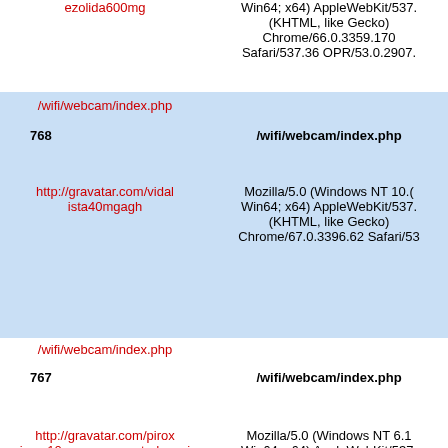| URL/Referrer | Path/User-Agent |
| --- | --- |
| ezolida600mg | Win64; x64) AppleWebKit/537.
(KHTML, like Gecko)
Chrome/66.0.3359.170
Safari/537.36 OPR/53.0.2907. |
| /wifi/webcam/index.php
768
http://gravatar.com/vidalista40mgagh | /wifi/webcam/index.php
Mozilla/5.0 (Windows NT 10.(
Win64; x64) AppleWebKit/537.
(KHTML, like Gecko)
Chrome/67.0.3396.62 Safari/53 |
| /wifi/webcam/index.php
767
http://gravatar.com/piroxicam10mgcomprarestadosunidos | /wifi/webcam/index.php
Mozilla/5.0 (Windows NT 6.1
Win64; x64) AppleWebKit/537.
(KHTML, like Gecko)
Chrome/67.0.3396.99 Safari/53 |
| /wifi/webcam/index.php |  |